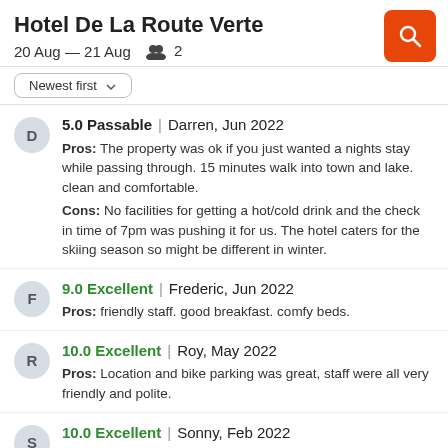Hotel De La Route Verte
20 Aug — 21 Aug   2
Newest first
5.0 Passable | Darren, Jun 2022
Pros: The property was ok if you just wanted a nights stay while passing through. 15 minutes walk into town and lake. clean and comfortable.
Cons: No facilities for getting a hot/cold drink and the check in time of 7pm was pushing it for us. The hotel caters for the skiing season so might be different in winter.
9.0 Excellent | Frederic, Jun 2022
Pros: friendly staff. good breakfast. comfy beds.
10.0 Excellent | Roy, May 2022
Pros: Location and bike parking was great, staff were all very friendly and polite.
10.0 Excellent | Sonny, Feb 2022
Pros: The hotel is very well located just 5min by car from the ski slopes. Free parking available on site. The room was clean,